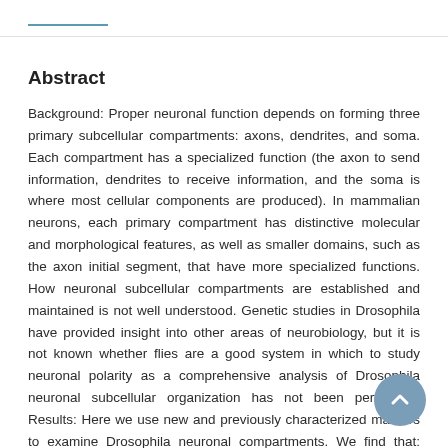Abstract
Background: Proper neuronal function depends on forming three primary subcellular compartments: axons, dendrites, and soma. Each compartment has a specialized function (the axon to send information, dendrites to receive information, and the soma is where most cellular components are produced). In mammalian neurons, each primary compartment has distinctive molecular and morphological features, as well as smaller domains, such as the axon initial segment, that have more specialized functions. How neuronal subcellular compartments are established and maintained is not well understood. Genetic studies in Drosophila have provided insight into other areas of neurobiology, but it is not known whether flies are a good system in which to study neuronal polarity as a comprehensive analysis of Drosophila neuronal subcellular organization has not been performed. Results: Here we use new and previously characterized markers to examine Drosophila neuronal compartments. We find that: axons and dendrites can accumulate